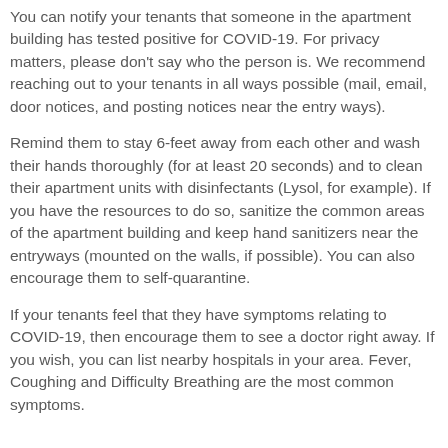You can notify your tenants that someone in the apartment building has tested positive for COVID-19. For privacy matters, please don't say who the person is. We recommend reaching out to your tenants in all ways possible (mail, email, door notices, and posting notices near the entry ways).
Remind them to stay 6-feet away from each other and wash their hands thoroughly (for at least 20 seconds) and to clean their apartment units with disinfectants (Lysol, for example). If you have the resources to do so, sanitize the common areas of the apartment building and keep hand sanitizers near the entryways (mounted on the walls, if possible). You can also encourage them to self-quarantine.
If your tenants feel that they have symptoms relating to COVID-19, then encourage them to see a doctor right away. If you wish, you can list nearby hospitals in your area. Fever, Coughing and Difficulty Breathing are the most common symptoms.